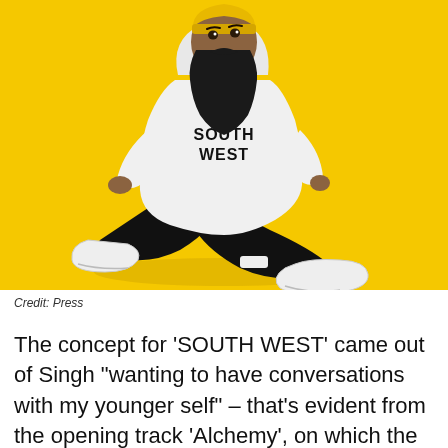[Figure (photo): A bearded man wearing a yellow beanie, white hoodie with 'SOUTH WEST' printed on it, and black pants with white sneakers, sitting cross-legged against a bright yellow background.]
Credit: Press
The concept for 'SOUTH WEST' came out of Singh “wanting to have conversations with my younger self” – that’s evident from the opening track ‘Alchemy’, on which the MC surpasses adult